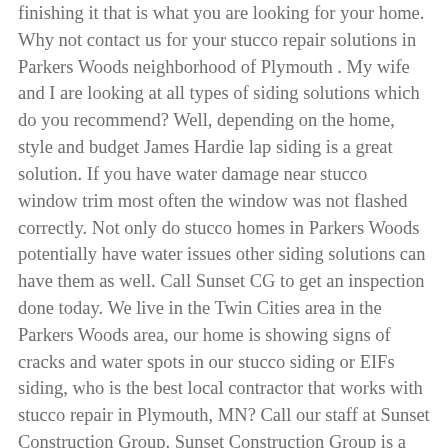finishing it that is what you are looking for your home. Why not contact us for your stucco repair solutions in Parkers Woods neighborhood of Plymouth . My wife and I are looking at all types of siding solutions which do you recommend? Well, depending on the home, style and budget James Hardie lap siding is a great solution. If you have water damage near stucco window trim most often the window was not flashed correctly. Not only do stucco homes in Parkers Woods potentially have water issues other siding solutions can have them as well. Call Sunset CG to get an inspection done today. We live in the Twin Cities area in the Parkers Woods area, our home is showing signs of cracks and water spots in our stucco siding or EIFs siding, who is the best local contractor that works with stucco repair in Plymouth, MN? Call our staff at Sunset Construction Group. Sunset Construction Group is a contractor that